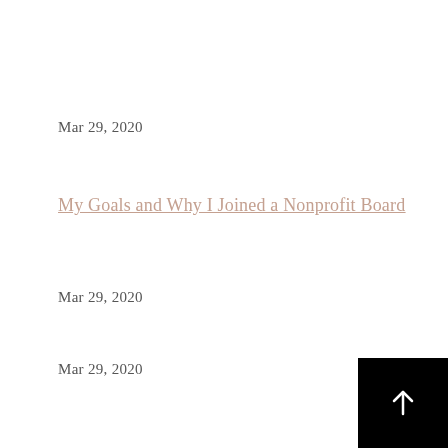Mar 29, 2020
My Goals and Why I Joined a Nonprofit Board
Mar 29, 2020
Mar 29, 2020
[Figure (other): Back to top button — black square with white upward arrow]